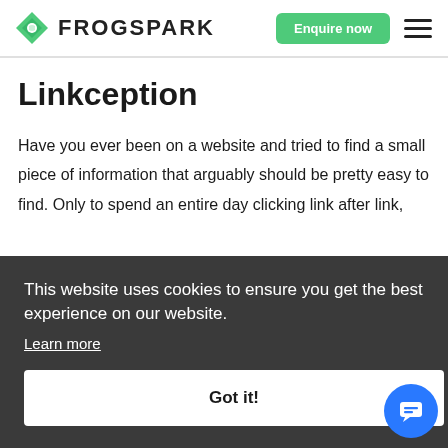FROGSPARK — Enquire now
Linkception
Have you ever been on a website and tried to find a small piece of information that arguably should be pretty easy to find. Only to spend an entire day clicking link after link, at.
This website uses cookies to ensure you get the best experience on our website. Learn more Got it!